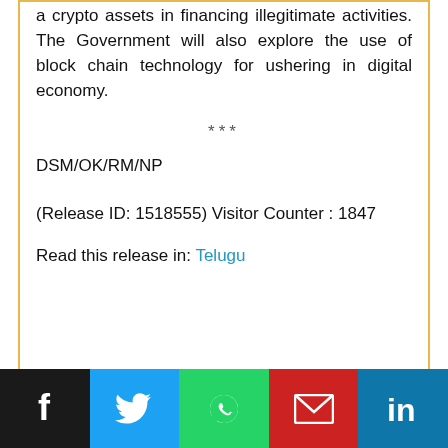a crypto assets in financing illegitimate activities. The Government will also explore the use of block chain technology for ushering in digital economy.
***
DSM/OK/RM/NP
(Release ID: 1518555) Visitor Counter : 1847
Read this release in: Telugu
[Figure (infographic): Social media sharing buttons bar: Facebook (black), Twitter (blue), WhatsApp (green), Email (red), LinkedIn (blue)]